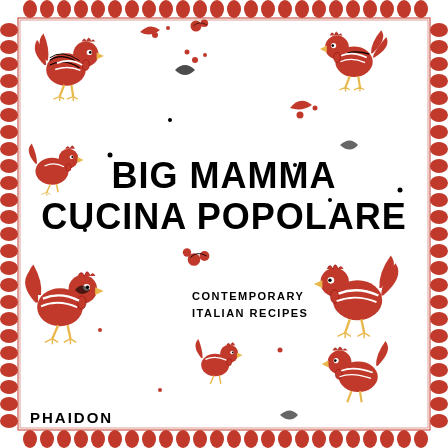[Figure (illustration): Book cover of 'Big Mamma Cucina Popolare' published by Phaidon. White background with decorative red and black folk-art roosters/chickens scattered across the cover. A decorative border of red oval/bean shapes runs around the perimeter. The center features bold black text with the book title and subtitle 'Contemporary Italian Recipes'. Publisher name 'Phaidon' appears at bottom left.]
BIG MAMMA CUCINA POPOLARE
CONTEMPORARY ITALIAN RECIPES
PHAIDON